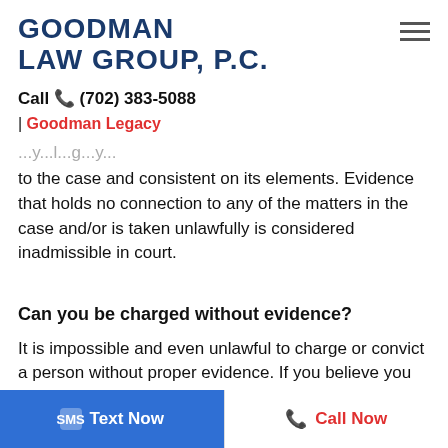GOODMAN LAW GROUP, P.C.
Call (702) 383-5088
| Goodman Legacy
to the case and consistent on its elements. Evidence that holds no connection to any of the matters in the case and/or is taken unlawfully is considered inadmissible in court.
Can you be charged without evidence?
It is impossible and even unlawful to charge or convict a person without proper evidence. If you believe you are wrongly charged
Text Now | Call Now